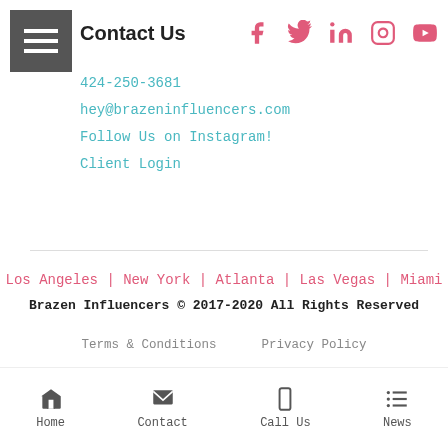[Figure (other): Hamburger menu button (three horizontal white lines on grey background)]
Contact Us
424-250-3681
hey@brazeninfluencers.com
Follow Us on Instagram!
Client Login
[Figure (other): Social media icons: Facebook, Twitter, LinkedIn, Instagram, YouTube in pink/red color]
Los Angeles | New York | Atlanta | Las Vegas | Miami
Brazen Influencers © 2017-2020 All Rights Reserved
Terms & Conditions   Privacy Policy
Home  Contact  Call Us  News